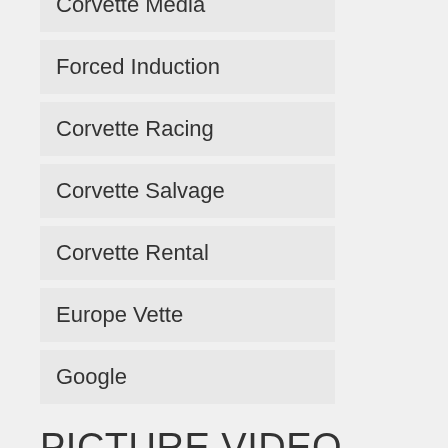Forced Induction
Corvette Racing
Corvette Salvage
Corvette Rental
Europe Vette
Google
PICTURE VIDEO MEDIA
Corvette Videos
Performance Tech